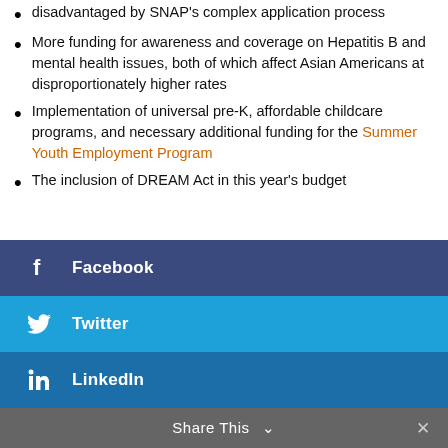disadvantaged by SNAP's complex application process
More funding for awareness and coverage on Hepatitis B and mental health issues, both of which affect Asian Americans at disproportionately higher rates
Implementation of universal pre-K, affordable childcare programs, and necessary additional funding for the Summer Youth Employment Program
The inclusion of DREAM Act in this year's budget
[Figure (other): Facebook share button (dark blue), Twitter share button (light blue), LinkedIn share button (medium blue), and Share This bar at bottom]
Share This  ∨  ×